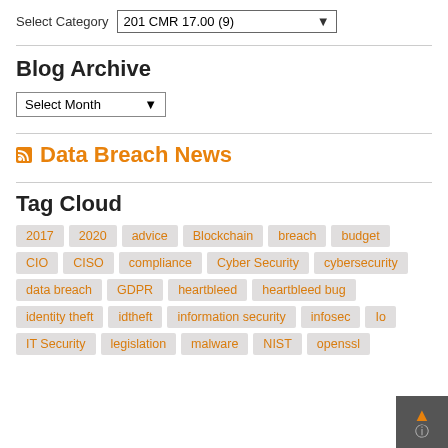Select Category  201 CMR 17.00  (9)
Blog Archive
Select Month
Data Breach News
Tag Cloud
2017
2020
advice
Blockchain
breach
budget
CIO
CISO
compliance
Cyber Security
cybersecurity
data breach
GDPR
heartbleed
heartbleed bug
identity theft
idtheft
information security
infosec
IoT
IT Security
legislation
malware
NIST
openssl